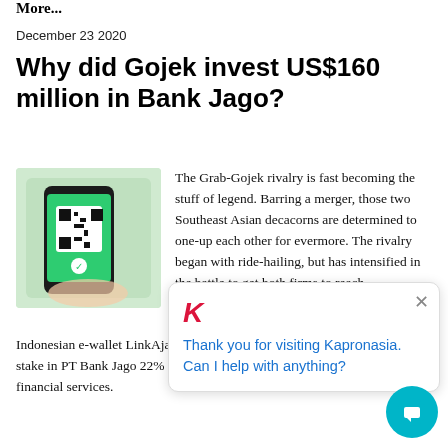More...
December 23 2020
Why did Gojek invest US$160 million in Bank Jago?
[Figure (photo): Hand holding a smartphone displaying a green QR code screen]
The Grab-Gojek rivalry is fast becoming the stuff of legend. Barring a merger, those two Southeast Asian decacorns are determined to one-up each other for evermore. The rivalry began with ride-hailing, but has intensified in the battle to get both firms to reach profitability with deep-pocketed investors. Following Grab leading a funding round in Indonesian e-wallet LinkAja, Gojek spent US$160 million to increase its stake in PT Bank Jago 22% from 4%. It is Gojek's largest investment yet in financial services.